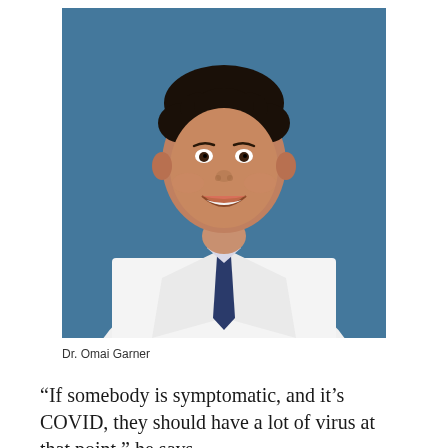[Figure (photo): Professional headshot of Dr. Omai Garner, a smiling man wearing a white lab coat and navy blue tie, photographed against a blue background.]
Dr. Omai Garner
“If somebody is symptomatic, and it’s COVID, they should have a lot of virus at that point,” he says —